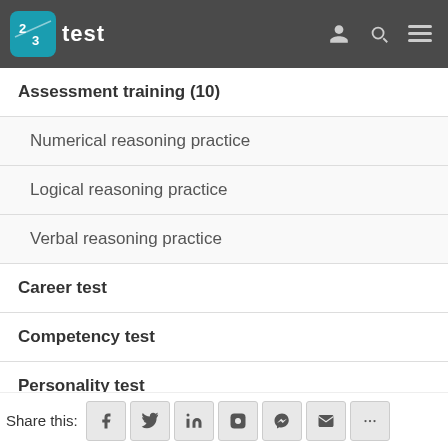test
Assessment training (10)
Numerical reasoning practice
Logical reasoning practice
Verbal reasoning practice
Career test
Competency test
Personality test
Work values test
Team roles test
Jung personality test
Share this: